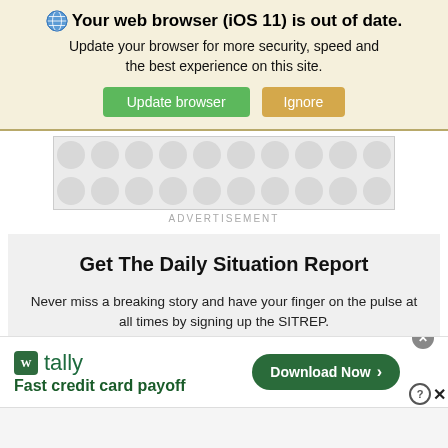Your web browser (iOS 11) is out of date. Update your browser for more security, speed and the best experience on this site.
[Figure (screenshot): Advertisement placeholder with grey polka dot pattern]
ADVERTISEMENT
Get The Daily Situation Report
Never miss a breaking story and have your finger on the pulse at all times by signing up the SITREP.
[Figure (screenshot): Bottom banner ad for Tally: Fast credit card payoff with Download Now button]